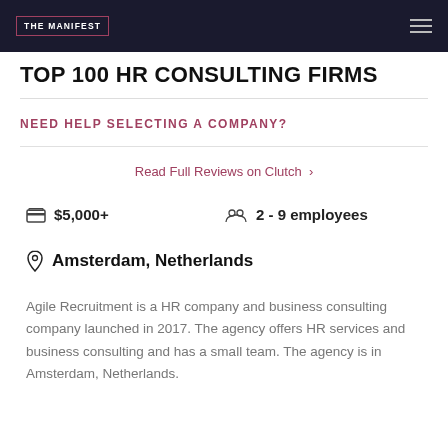THE MANIFEST
TOP 100 HR CONSULTING FIRMS
NEED HELP SELECTING A COMPANY?
Read Full Reviews on Clutch >
$5,000+   2 - 9 employees
Amsterdam, Netherlands
Agile Recruitment is a HR company and business consulting company launched in 2017. The agency offers HR services and business consulting and has a small team. The agency is in Amsterdam, Netherlands.